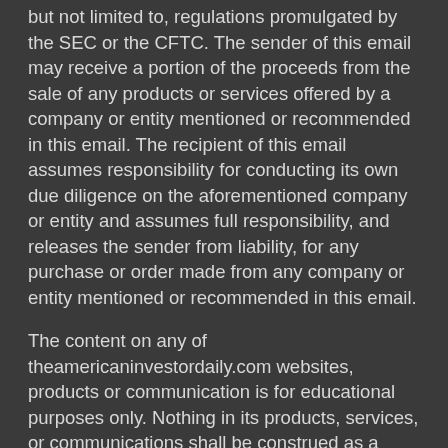but not limited to, regulations promulgated by the SEC or the CFTC. The sender of this email may receive a portion of the proceeds from the sale of any products or services offered by a company or entity mentioned or recommended in this email. The recipient of this email assumes responsibility for conducting its own due diligence on the aforementioned company or entity and assumes full responsibility, and releases the sender from liability, for any purchase or order made from any company or entity mentioned or recommended in this email.
The content on any of theamericaninvestordaily.com websites, products or communication is for educational purposes only. Nothing in its products, services, or communications shall be construed as a solicitation and/or recommendation to buy or sell a security. Trading stocks, options and other securities involves risk. The risk of loss in trading securities can be substantial. The risk involved with trading stocks, options and other securities is not suitable